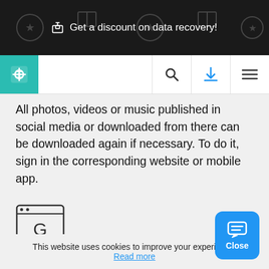🎁 Get a discount on data recovery!
[Figure (screenshot): Navigation bar with teal settings logo, search icon, download icon, and menu icon]
All photos, videos or music published in social media or downloaded from there can be downloaded again if necessary. To do it, sign in the corresponding website or mobile app.
[Figure (logo): Google Chrome browser icon (rectangle with G letter inside)]
Synchronizing Google Search, GMail, YouTube, Google Drive, Maps, Photos...
This website uses cookies to improve your experience.
Read more